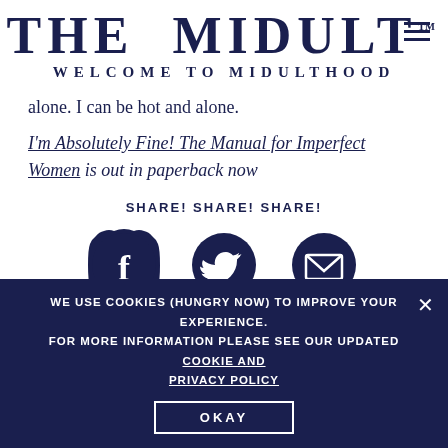THE MIDULT™ WELCOME TO MIDULTHOOD
alone. I can be hot and alone.
I'm Absolutely Fine! The Manual for Imperfect Women is out in paperback now
SHARE! SHARE! SHARE!
[Figure (infographic): Three circular badge-style social share icons: Facebook (f), Twitter (bird), and Email (envelope), dark navy on white background]
WE USE COOKIES (HUNGRY NOW) TO IMPROVE YOUR EXPERIENCE. FOR MORE INFORMATION PLEASE SEE OUR UPDATED COOKIE AND PRIVACY POLICY
OKAY